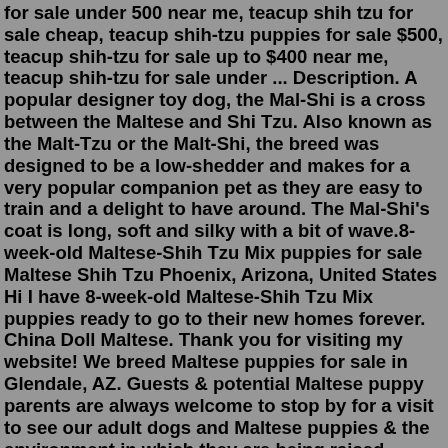for sale under 500 near me, teacup shih tzu for sale cheap, teacup shih-tzu puppies for sale $500, teacup shih-tzu for sale up to $400 near me, teacup shih-tzu for sale under ... Description. A popular designer toy dog, the Mal-Shi is a cross between the Maltese and Shi Tzu. Also known as the Malt-Tzu or the Malt-Shi, the breed was designed to be a low-shedder and makes for a very popular companion pet as they are easy to train and a delight to have around. The Mal-Shi's coat is long, soft and silky with a bit of wave.8-week-old Maltese-Shih Tzu Mix puppies for sale Maltese Shih Tzu Phoenix, Arizona, United States Hi I have 8-week-old Maltese-Shih Tzu Mix puppies ready to go to their new homes forever. China Doll Maltese. Thank you for visiting my website! We breed Maltese puppies for sale in Glendale, AZ. Guests & potential Maltese puppy parents are always welcome to stop by for a visit to see our adult dogs and Maltese puppies & the environment in which they are being raised. Please feel free to call or email me anytime.Teacup maltipoo for sale in Scottsdale,